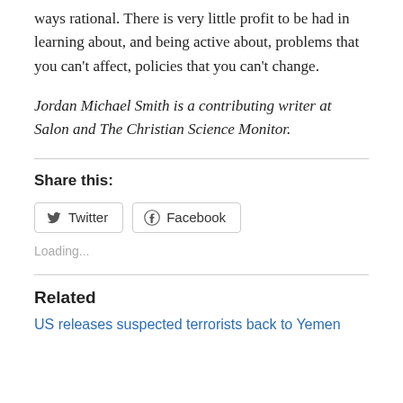ways rational. There is very little profit to be had in learning about, and being active about, problems that you can't affect, policies that you can't change.
Jordan Michael Smith is a contributing writer at Salon and The Christian Science Monitor.
Share this:
[Figure (other): Twitter and Facebook share buttons]
Loading...
Related
US releases suspected terrorists back to Yemen